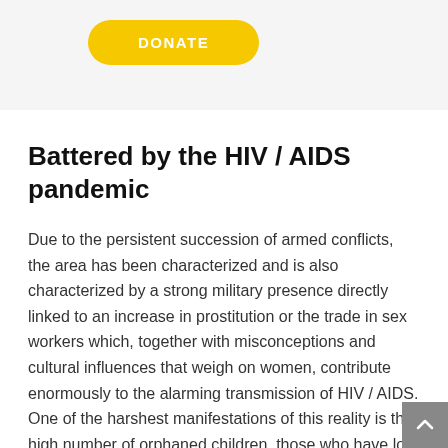[Figure (other): Yellow rounded DONATE button]
Battered by the HIV / AIDS pandemic
Due to the persistent succession of armed conflicts, the area has been characterized and is also characterized by a strong military presence directly linked to an increase in prostitution or the trade in sex workers which, together with misconceptions and cultural influences that weigh on women, contribute enormously to the alarming transmission of HIV / AIDS. One of the harshest manifestations of this reality is the high number of orphaned children, those who have lost their parents either due to HIV / AIDS or due to war, or minors who are not orphans but who have been